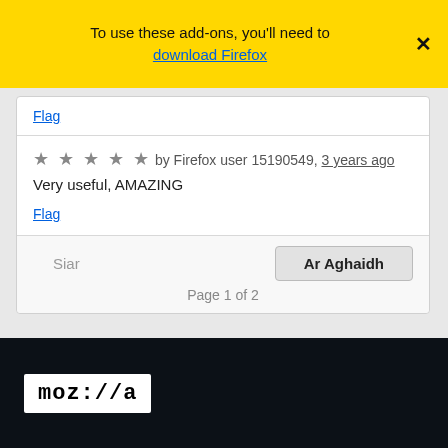To use these add-ons, you'll need to download Firefox
Flag
★★★★★ by Firefox user 15190549, 3 years ago
Very useful, AMAZING
Flag
Siar   Ar Aghaidh   Page 1 of 2
[Figure (logo): Mozilla logo (moz://a) on dark background]